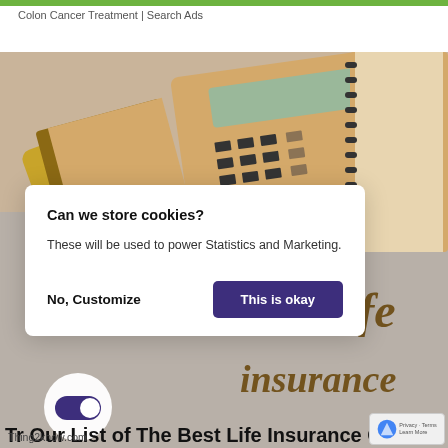Colon Cancer Treatment | Search Ads
[Figure (photo): Background photo showing notebooks and a calculator on a table, with text 'life insurance' overlaid in brown italic font]
Can we store cookies?
These will be used to power Statistics and Marketing.
No, Customize
This is okay
Try Our List of The Best Life Insurance Com
Thing2know.com